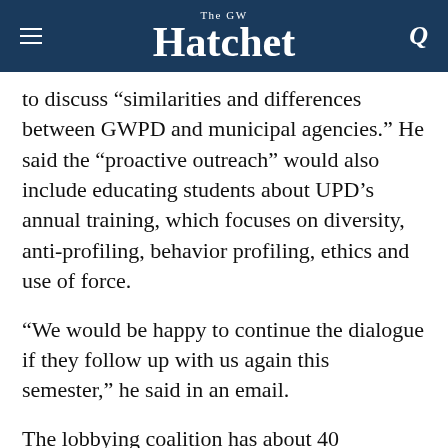The GW Hatchet
to discuss “similarities and differences between GWPD and municipal agencies.” He said the “proactive outreach” would also include educating students about UPD’s annual training, which focuses on diversity, anti-profiling, behavior profiling, ethics and use of force.
“We would be happy to continue the dialogue if they follow up with us again this semester,” he said in an email.
The lobbying coalition has about 40 representatives from more than 20 different student organizations, including the GW Roosevelt Institute, the Progressive Student